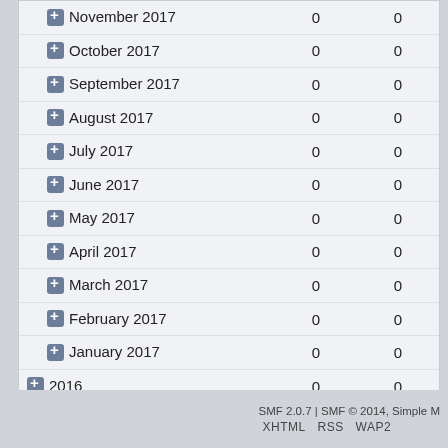| Period |  |  |
| --- | --- | --- |
| November 2017 | 0 | 0 |
| October 2017 | 0 | 0 |
| September 2017 | 0 | 0 |
| August 2017 | 0 | 0 |
| July 2017 | 0 | 0 |
| June 2017 | 0 | 0 |
| May 2017 | 0 | 0 |
| April 2017 | 0 | 0 |
| March 2017 | 0 | 0 |
| February 2017 | 0 | 0 |
| January 2017 | 0 | 0 |
| 2016 | 0 | 0 |
| 2015 | 0 | 0 |
| 2014 | 1 | 1 |
SMF 2.0.7 | SMF © 2014, Simple M
XHTML RSS WAP2